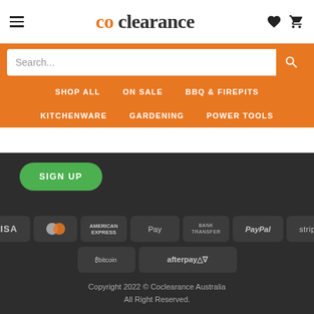[Figure (logo): co clearance logo with 'co' in orange and 'clearance' in dark gray serif font, hamburger menu icon on left, heart and cart icons on right]
[Figure (screenshot): Orange search bar with white search input field and search magnifier button]
SHOP ALL | ON SALE | BBQ & FIREPITS | KITCHENWARE | GARDENING | POWER TOOLS
[Figure (screenshot): Green SIGN UP button with rounded corners on dark background]
[Figure (screenshot): Payment method badges: VISA, Mastercard, American Express, Apple Pay, Bank Transfer, PayPal, Stripe, Bitcoin, Afterpay]
Copyright 2022 © Coclearance Australia All Right Reserved.